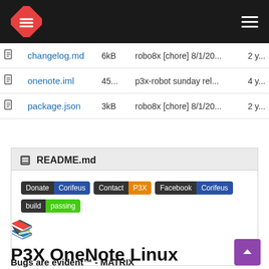Navigation bar with logo and hamburger menu
| icon | filename | size | commit | age |
| --- | --- | --- | --- | --- |
| [file] | changelog.md | 6kB | robo8x [chore] 8/1/20... | 2 y... |
| [file] | onenote.iml | 45... | p3x-robot sunday rel... | 4 y... |
| [file] | package.json | 3kB | robo8x [chore] 8/1/20... | 2 y... |
README.md
[Figure (infographic): Donate Corifeus badge, Contact P3X badge, Facebook Corifeus badge, build passing badge]
📚 P3X OneNote Linux v2020.10.107
Bugs are evident™ - MATRIX